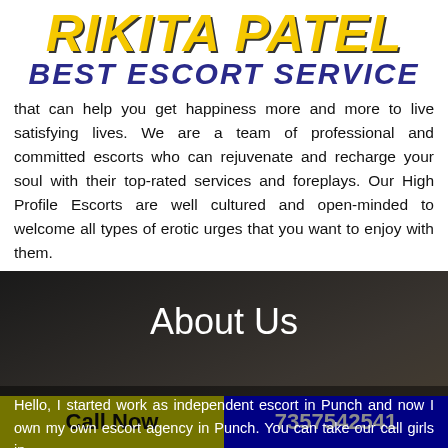RIKITA PATEL BEST ESCORT SERVICE
that can help you get happiness more and more to live satisfying lives. We are a team of professional and committed escorts who can rejuvenate and recharge your soul with their top-rated services and foreplays. Our High Profile Escorts are well cultured and open-minded to welcome all types of erotic urges that you want to enjoy with them.
About Us
Hello, I started work as independent escort in Punch and now I own my own escort agency in Punch. You can take our call girls in
Call Now
7357542541